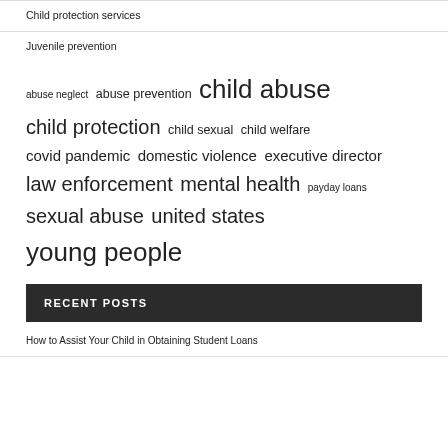Child protection services
Juvenile prevention
[Figure (other): Tag cloud with terms related to child protection and social services, sized by frequency]
RECENT POSTS
How to Assist Your Child in Obtaining Student Loans